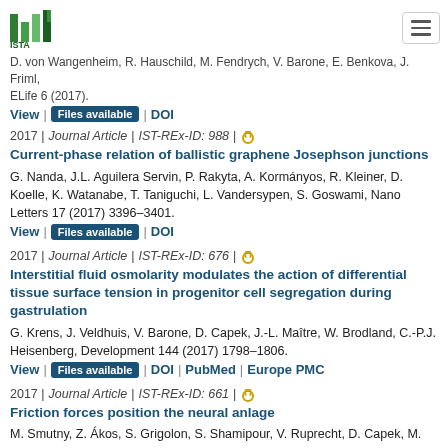ISTA logo and navigation
D. von Wangenheim, R. Hauschild, M. Fendrych, V. Barone, E. Benkova, J. Friml, ELife 6 (2017).
View | Files available | DOI
2017 | Journal Article | IST-REx-ID: 988 |
Current-phase relation of ballistic graphene Josephson junctions
G. Nanda, J.L. Aguilera Servin, P. Rakyta, A. Kormányos, R. Kleiner, D. Koelle, K. Watanabe, T. Taniguchi, L. Vandersypen, S. Goswami, Nano Letters 17 (2017) 3396–3401.
View | Files available | DOI
2017 | Journal Article | IST-REx-ID: 676 |
Interstitial fluid osmolarity modulates the action of differential tissue surface tension in progenitor cell segregation during gastrulation
G. Krens, J. Veldhuis, V. Barone, D. Capek, J.-L. Maître, W. Brodland, C.-P.J. Heisenberg, Development 144 (2017) 1798–1806.
View | Files available | DOI | PubMed | Europe PMC
2017 | Journal Article | IST-REx-ID: 661 |
Friction forces position the neural anlage
M. Smutny, Z. Ákos, S. Grigolon, S. Shamipour, V. Ruprecht, D. Capek, M.